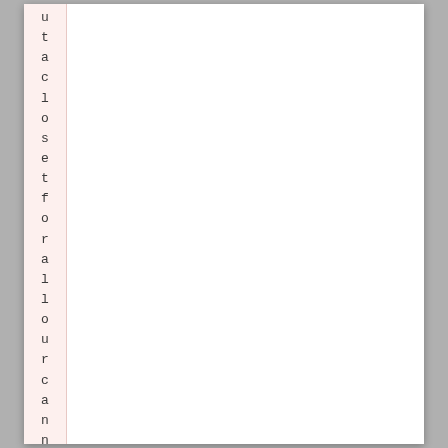utaclose t for all our canneds